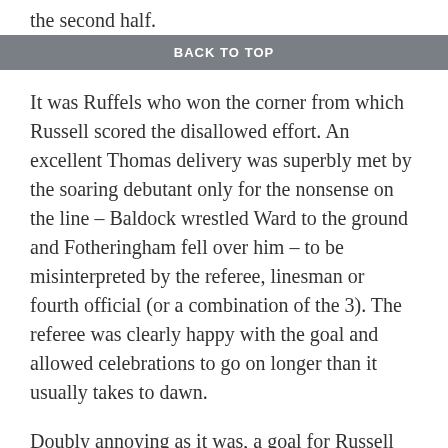the second half.
BACK TO TOP
It was Ruffels who won the corner from which Russell scored the disallowed effort. An excellent Thomas delivery was superbly met by the soaring debutant only for the nonsense on the line – Baldock wrestled Ward to the ground and Fotheringham fell over him – to be misinterpreted by the referee, linesman or fourth official (or a combination of the 3). The referee was clearly happy with the goal and allowed celebrations to go on longer than it usually takes to dawn.
Doubly annoying as it was, a goal for Russell would have capped a very good first half, Town haven't much room to complain about referee decisions recently, though this looked entirely like a cop out for officials unsure what had